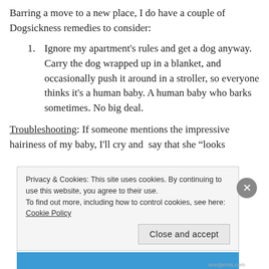Barring a move to a new place, I do have a couple of Dogsickness remedies to consider:
1. Ignore my apartment's rules and get a dog anyway. Carry the dog wrapped up in a blanket, and occasionally push it around in a stroller, so everyone thinks it's a human baby. A human baby who barks sometimes. No big deal.
Troubleshooting: If someone mentions the impressive hairiness of my baby, I'll cry and  say that she "looks
Privacy & Cookies: This site uses cookies. By continuing to use this website, you agree to their use.
To find out more, including how to control cookies, see here: Cookie Policy
Close and accept